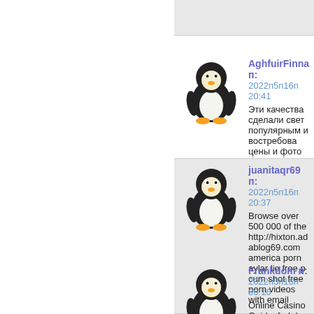[Figure (illustration): Linux Tux penguin avatar for AghfuirFinna post]
AghfuirFinna п:
2022п5п16п 20:41
Эти качества сделали свет популярным и востребова цены и фото </a>. Его исп больницах, в учебных заведениях, на пр юсб розетку </a>. Необходимо только по установить, чтобы получить все преиму href=https://svetdom.by>люстра потолоч
[Figure (illustration): Linux Tux penguin avatar for juanitaqr69 post]
juanitaqr69 п:
2022п5п16п 20:37
Browse over 500 000 of the http://hixton.adablog69.com america porn aylar lie free p cum shot free porn videos with email
[Figure (illustration): Linux Tux penguin avatar for Frankdom post]
Frankdom п:
2022п5п16п 06:16
Online Casino Guide, [url=h [/url] Slots, Signup Bonus C